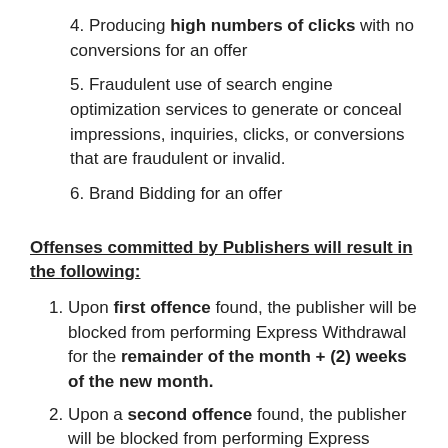4. Producing high numbers of clicks with no conversions for an offer
5. Fraudulent use of search engine optimization services to generate or conceal impressions, inquiries, clicks, or conversions that are fraudulent or invalid.
6. Brand Bidding for an offer
Offenses committed by Publishers will result in the following:
1. Upon first offence found, the publisher will be blocked from performing Express Withdrawal for the remainder of the month + (2) weeks of the new month.
2. Upon a second offence found, the publisher will be blocked from performing Express Withdrawal for the remainder of the month + (1) full month of the